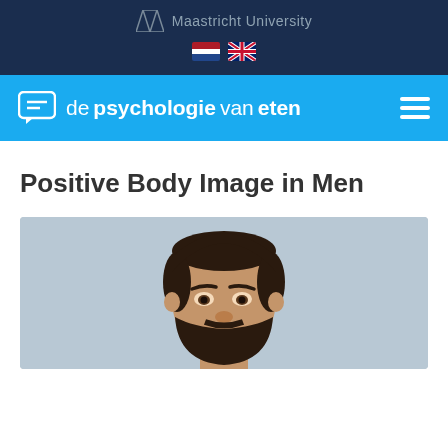Maastricht University
de psychologie van eten
Positive Body Image in Men
[Figure (photo): Portrait photo of a bearded man with dark hair, looking slightly upward, against a light grey background]